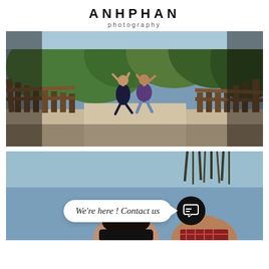ANHPHAN photography
[Figure (photo): Two people jumping joyfully on a wooden bridge path with trees and blue sky in background, outdoor park setting]
[Figure (photo): Couple laughing outdoors with blue sky background, overlaid with a speech bubble reading 'We're here ! Contact us' and a dark chat icon button]